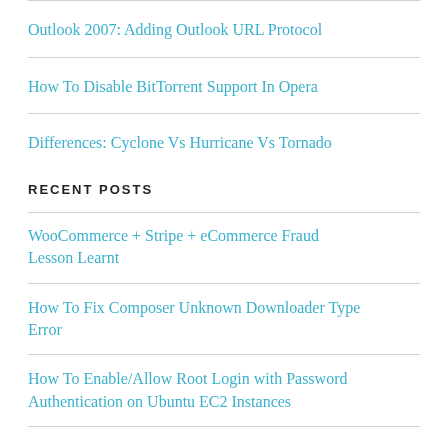Outlook 2007: Adding Outlook URL Protocol
How To Disable BitTorrent Support In Opera
Differences: Cyclone Vs Hurricane Vs Tornado
RECENT POSTS
WooCommerce + Stripe + eCommerce Fraud Lesson Learnt
How To Fix Composer Unknown Downloader Type Error
How To Enable/Allow Root Login with Password Authentication on Ubuntu EC2 Instances